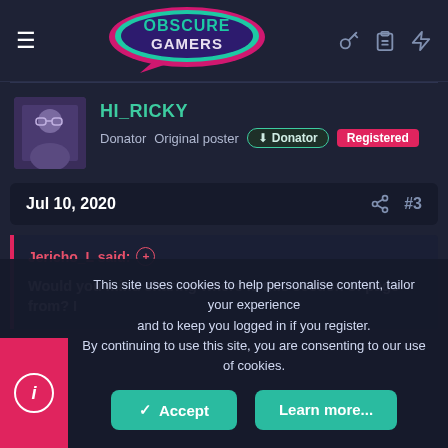[Figure (logo): Obscure Gamers logo — speech bubble shape in teal/pink with text 'OBSCURE GAMERS']
HI_RICKY
Donator   Original poster   Donator   Registered
Jul 10, 2020   #3
Jericho_L said: ⊕
Would you mind sharing where is this section of page from? I
This site uses cookies to help personalise content, tailor your experience and to keep you logged in if you register.
By continuing to use this site, you are consenting to our use of cookies.
✓ Accept   Learn more...